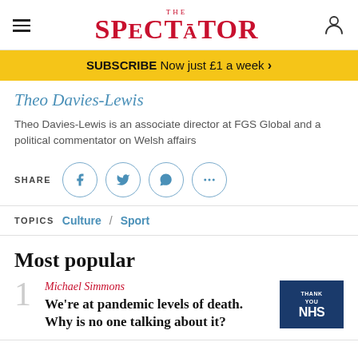THE SPECTATOR
SUBSCRIBE Now just £1 a week >
Theo Davies-Lewis
Theo Davies-Lewis is an associate director at FGS Global and a political commentator on Welsh affairs
SHARE
TOPICS Culture / Sport
Most popular
1 Michael Simmons We're at pandemic levels of death. Why is no one talking about it?